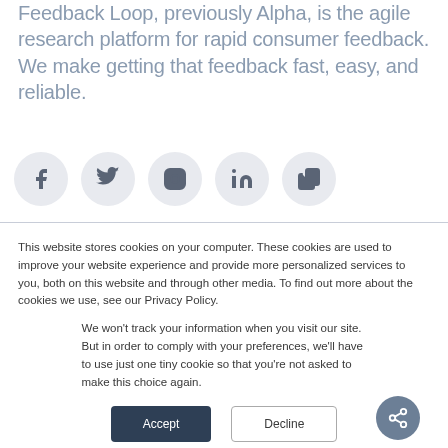Feedback Loop, previously Alpha, is the agile research platform for rapid consumer feedback. We make getting that feedback fast, easy, and reliable.
[Figure (illustration): Share button (circular, dark blue-grey) with share icon, and five social media icon circles (Facebook, Twitter, Instagram, LinkedIn, and a copy/link icon) on light grey circular backgrounds.]
This website stores cookies on your computer. These cookies are used to improve your website experience and provide more personalized services to you, both on this website and through other media. To find out more about the cookies we use, see our Privacy Policy.
We won't track your information when you visit our site. But in order to comply with your preferences, we'll have to use just one tiny cookie so that you're not asked to make this choice again.
Accept  Decline